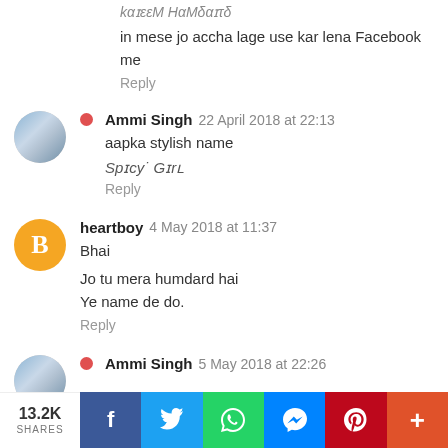kαɪεεM ΗαMδαɪτδ
in mese jo accha lage use kar lena Facebook me
Reply
Ammi Singh 22 April 2018 at 22:13
aapka stylish name
Spɪcy˙ Gɪrʟ
Reply
heartboy 4 May 2018 at 11:37
Bhai
Jo tu mera humdard hai
Ye name de do.
Reply
Ammi Singh 5 May 2018 at 22:26
13.2K SHARES